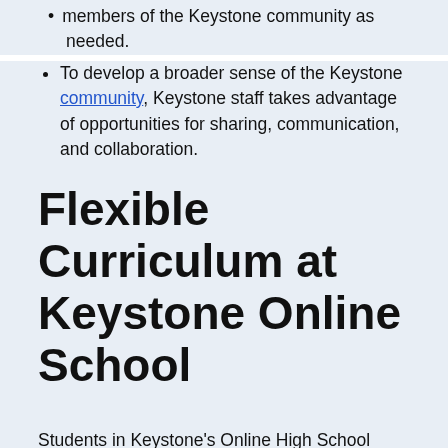members of the Keystone community as needed.
To develop a broader sense of the Keystone community, Keystone staff takes advantage of opportunities for sharing, communication, and collaboration.
Flexible Curriculum at Keystone Online School
Students in Keystone's Online High School program range from those who struggle in traditional classrooms to those who are